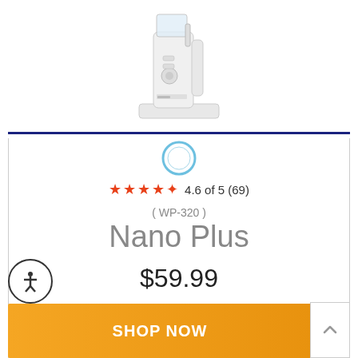[Figure (photo): White Waterpik Nano Plus water flosser product photo on white background]
[Figure (logo): Amazon Alexa device icon - white circle with blue ring]
4.6 of 5 (69)
( WP-320 )
Nano Plus
$59.99
SHOP NOW